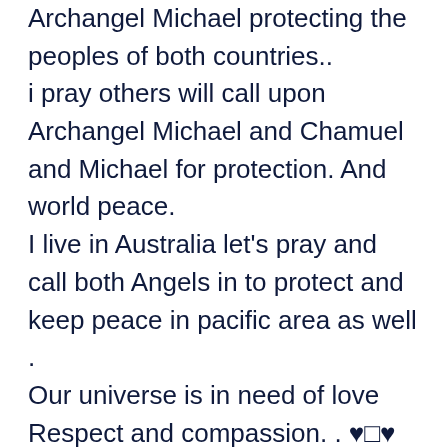Archangel Michael protecting the peoples of both countries.. i pray others will call upon Archangel Michael and Chamuel and Michael for protection. And world peace. I live in Australia let's pray and call both Angels in to protect and keep peace in pacific area as well . Our universe is in need of love Respect and compassion. . ♥□♥ Thank you Radleigh for helping bring world peace with reminders and messages through our